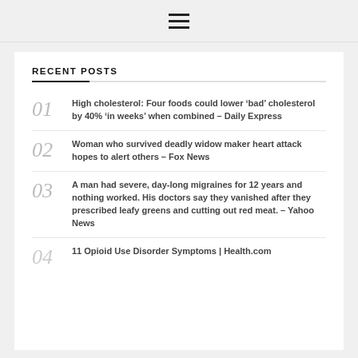[Figure (other): Hamburger menu icon (three horizontal lines)]
RECENT POSTS
01 High cholesterol: Four foods could lower 'bad' cholesterol by 40% 'in weeks' when combined – Daily Express
02 Woman who survived deadly widow maker heart attack hopes to alert others – Fox News
03 A man had severe, day-long migraines for 12 years and nothing worked. His doctors say they vanished after they prescribed leafy greens and cutting out red meat. – Yahoo News
04 11 Opioid Use Disorder Symptoms | Health.com